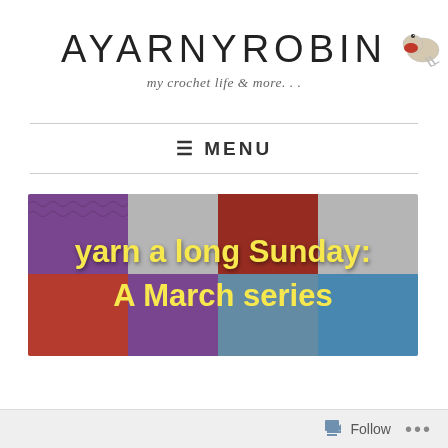AYARNYROBIN
my crochet life & more...
≡ MENU
[Figure (photo): Colorful crochet granny squares with text overlay reading 'yarn a long Sunday: A March series' in yellow font]
Follow ...